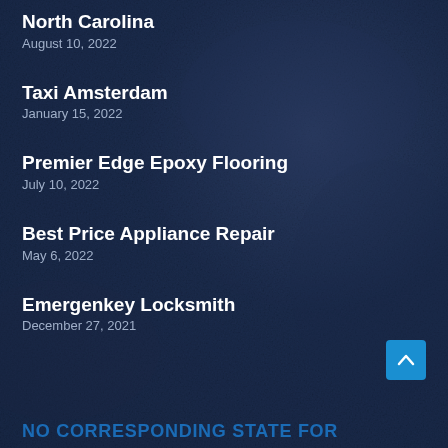North Carolina
August 10, 2022
Taxi Amsterdam
January 15, 2022
Premier Edge Epoxy Flooring
July 10, 2022
Best Price Appliance Repair
May 6, 2022
Emergenkey Locksmith
December 27, 2021
NO CORRESPONDING STATE FOR